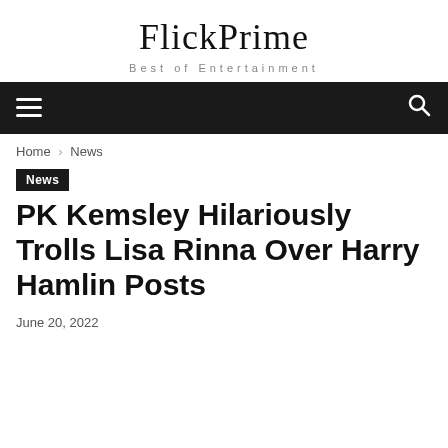FlickPrime
Best of Entertainment
≡  🔍
Home › News
News
PK Kemsley Hilariously Trolls Lisa Rinna Over Harry Hamlin Posts
June 20, 2022